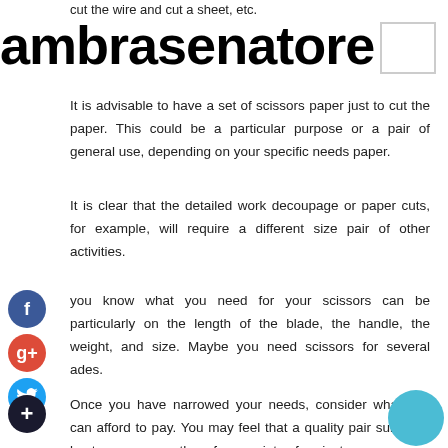cut the wire and cut a sheet, etc.
ambrasenatore
It is advisable to have a set of scissors paper just to cut the paper. This could be a particular purpose or a pair of general use, depending on your specific needs paper.
It is clear that the detailed work decoupage or paper cuts, for example, will require a different size pair of other activities.
you know what you need for your scissors can be particularly on the length of the blade, the handle, the weight, and size. Maybe you need scissors for several ades.
Once you have narrowed your needs, consider what you can afford to pay. You may feel that a quality pair suits you best, you can use them for a variety of projects.